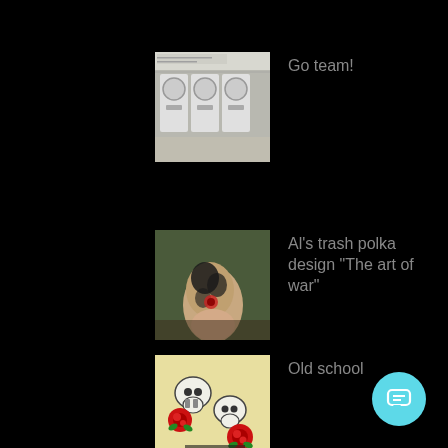[Figure (photo): Thumbnail image of a laundromat or similar indoor scene with white appliances]
Go team!
[Figure (photo): Thumbnail image of a tattoo on an arm - trash polka style design]
Al's trash polka design "The art of war"
[Figure (photo): Thumbnail image of an old school tattoo design with skulls and red roses on yellow background]
Old school